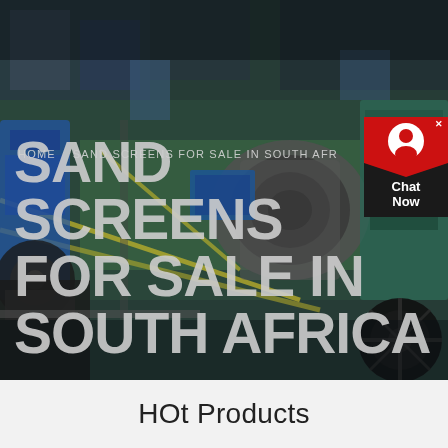[Figure (photo): Aerial/overhead view of an industrial factory floor with machinery, equipment, conveyor belts, a green floor with yellow lane markings, and various heavy manufacturing equipment including what appears to be large cylindrical machines and blue metal structures.]
HOME   SAND SCREENS FOR SALE IN SOUTH AFR
SAND SCREENS FOR SALE IN SOUTH AFRICA
HOt Products